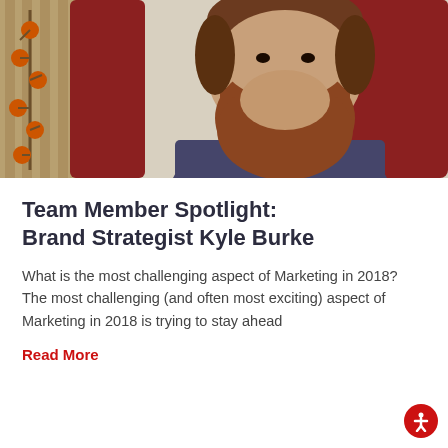[Figure (photo): A smiling man with a long reddish-brown beard seated in a dark red armchair, wearing a dark blue/grey sweater. Decorative orange berry branches visible in background on the left.]
Team Member Spotlight: Brand Strategist Kyle Burke
What is the most challenging aspect of Marketing in 2018? The most challenging (and often most exciting) aspect of Marketing in 2018 is trying to stay ahead
Read More